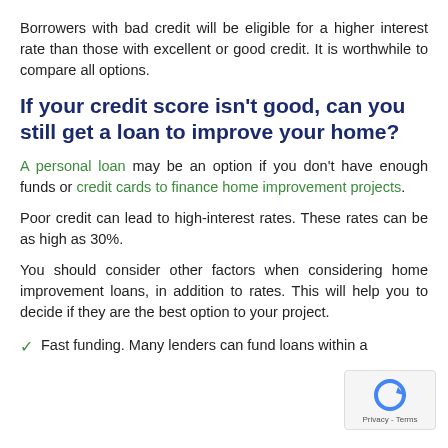Borrowers with bad credit will be eligible for a higher interest rate than those with excellent or good credit. It is worthwhile to compare all options.
If your credit score isn’t good, can you still get a loan to improve your home?
A personal loan may be an option if you don’t have enough funds or credit cards to finance home improvement projects.
Poor credit can lead to high-interest rates. These rates can be as high as 30%.
You should consider other factors when considering home improvement loans, in addition to rates. This will help you to decide if they are the best option to your project.
Fast funding. Many lenders can fund loans within a